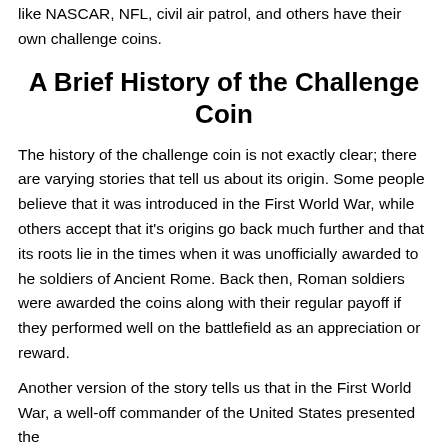like NASCAR, NFL, civil air patrol, and others have their own challenge coins.
A Brief History of the Challenge Coin
The history of the challenge coin is not exactly clear; there are varying stories that tell us about its origin. Some people believe that it was introduced in the First World War, while others accept that it's origins go back much further and that its roots lie in the times when it was unofficially awarded to he soldiers of Ancient Rome. Back then, Roman soldiers were awarded the coins along with their regular payoff if they performed well on the battlefield as an appreciation or reward.
Another version of the story tells us that in the First World War, a well-off commander of the United States presented the